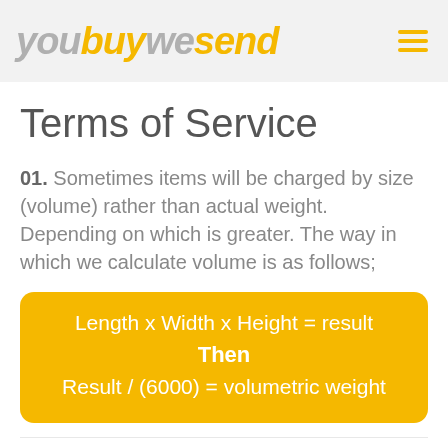youbuywesend
Terms of Service
01.  Sometimes items will be charged by size (volume) rather than actual weight. Depending on which is greater. The way in which we calculate volume is as follows;
The volumetric weight is what we consider